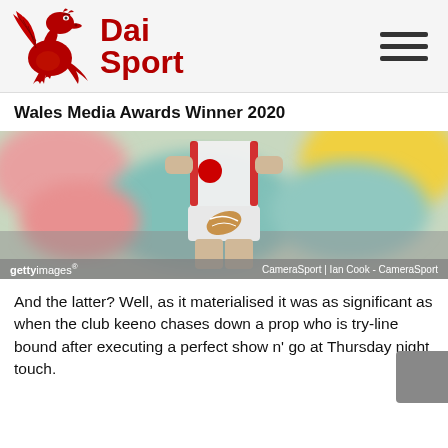[Figure (logo): Dai Sport logo with red dragon mascot and red bold text 'Dai Sport']
Wales Media Awards Winner 2020
[Figure (photo): Blurred rugby player in white Wales kit holding a ball, Getty Images credit, CameraSport | Ian Cook - CameraSport]
gettyimages   CameraSport | Ian Cook - CameraSport
And the latter? Well, as it materialised it was as significant as when the club keeno chases down a prop who is try-line bound after executing a perfect show n' go at Thursday night touch.